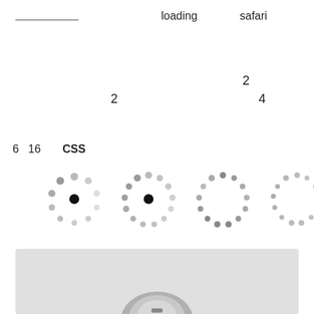loading   safari
2
2   4
6  16  CSS
[Figure (illustration): Four CSS loading spinner animations shown in a row, each a ring of dots in varying shades of grey with a dark central dot, illustrating different animation states.]
[Figure (photo): Partial photo of what appears to be a circular device or gauge, shown from above against a light grey background.]